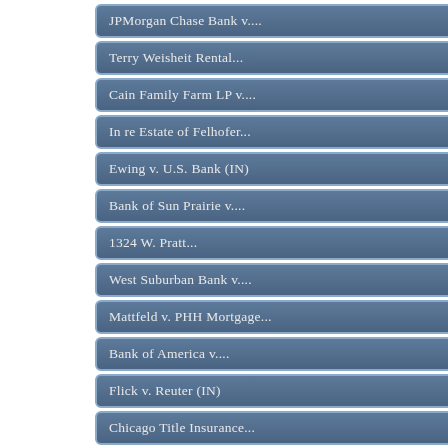JPMorgan Chase Bank v....
Terry Weisheit Rental....
Cain Family Farm LP v....
In re Estate of Felhofer...
Ewing v. U.S. Bank (IN)
Bank of Sun Prairie v....
1324 W. Pratt...
West Suburban Bank v....
Mattfeld v. PHH Mortgage...
Bank of America v....
Flick v. Reuter (IN)
Chicago Title Insurance...
Nationwide Financial v....
Ivancevic v. Reagan (WD
Countrywide Home Loans v...